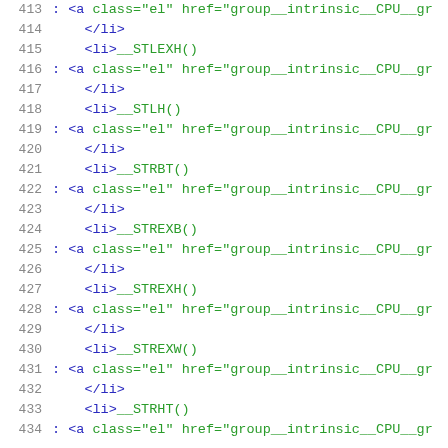413  : <a class="el" href="group__intrinsic__CPU__gr
414      </li>
415      <li>__STLEXH()
416  : <a class="el" href="group__intrinsic__CPU__gr
417      </li>
418      <li>__STLH()
419  : <a class="el" href="group__intrinsic__CPU__gr
420      </li>
421      <li>__STRBT()
422  : <a class="el" href="group__intrinsic__CPU__gr
423      </li>
424      <li>__STREXB()
425  : <a class="el" href="group__intrinsic__CPU__gr
426      </li>
427      <li>__STREXH()
428  : <a class="el" href="group__intrinsic__CPU__gr
429      </li>
430      <li>__STREXW()
431  : <a class="el" href="group__intrinsic__CPU__gr
432      </li>
433      <li>__STRHT()
434  : <a class="el" href="group__intrinsic__CPU__gr